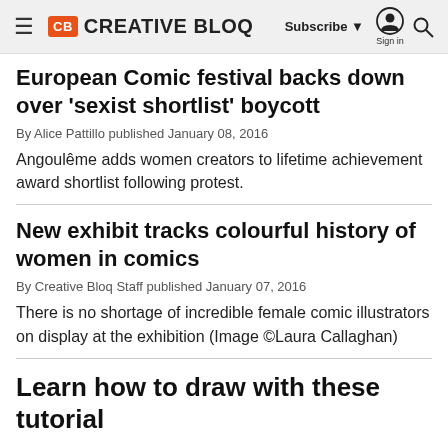CB CREATIVE BLOQ — Subscribe ▼ Sign in 🔍
European Comic festival backs down over 'sexist shortlist' boycott
By Alice Pattillo published January 08, 2016
Angoulême adds women creators to lifetime achievement award shortlist following protest.
New exhibit tracks colourful history of women in comics
By Creative Bloq Staff published January 07, 2016
There is no shortage of incredible female comic illustrators on display at the exhibition (Image ©Laura Callaghan)
Learn how to draw with these tutorial